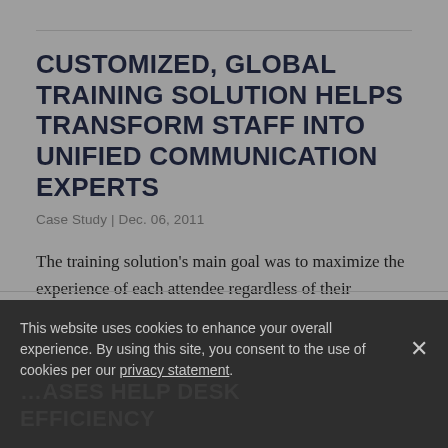CUSTOMIZED, GLOBAL TRAINING SOLUTION HELPS TRANSFORM STAFF INTO UNIFIED COMMUNICATION EXPERTS
Case Study | Dec. 06, 2011
The training solution's main goal was to maximize the experience of each attendee regardless of their prerequisite knowledge. Training needed to be delivered on three continents.
This website uses cookies to enhance your overall experience. By using this site, you consent to the use of cookies per our privacy statement.